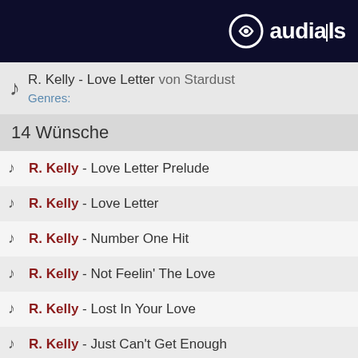audials
R. Kelly - Love Letter von Stardust
Genres:
14 Wünsche
R. Kelly - Love Letter Prelude
R. Kelly - Love Letter
R. Kelly - Number One Hit
R. Kelly - Not Feelin' The Love
R. Kelly - Lost In Your Love
R. Kelly - Just Can't Get Enough
R. Kelly - Taxi Cab
R. Kelly - ...